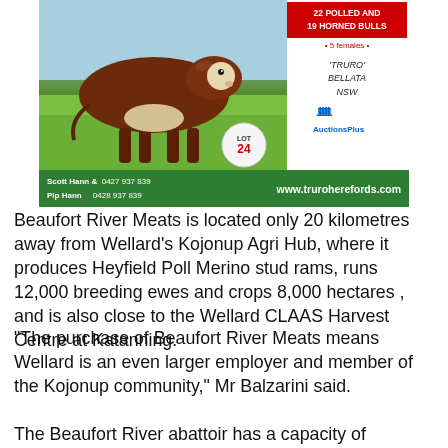[Figure (photo): Advertisement for Truro Herefords showing a Hereford bull, lot 24, with contact details for Scott Hann and Pip Hann, and the website www.truroherefords.com. Red banner shows 22 Polled and 18 Horned Bulls, 5 females, located at Truro Bellata NSW.]
Beaufort River Meats is located only 20 kilometres away from Wellard's Kojonup Agri Hub, where it produces Heyfield Poll Merino stud rams, runs 12,000 breeding ewes and crops 8,000 hectares , and is also close to the Wellard CLAAS Harvest Centre at Katanning.
“The purchase of Beaufort River Meats means Wellard is an even larger employer and member of the Kojonup community,” Mr Balzarini said.
The Beaufort River abattoir has a capacity of